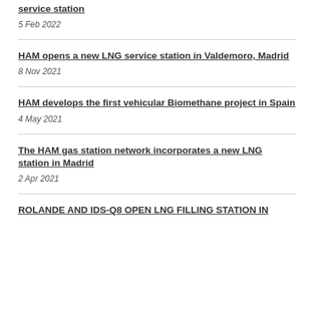service station
5 Feb 2022
HAM opens a new LNG service station in Valdemoro, Madrid
8 Nov 2021
HAM develops the first vehicular Biomethane project in Spain
4 May 2021
The HAM gas station network incorporates a new LNG station in Madrid
2 Apr 2021
ROLANDE AND IDS-Q8 OPEN LNG FILLING STATION IN